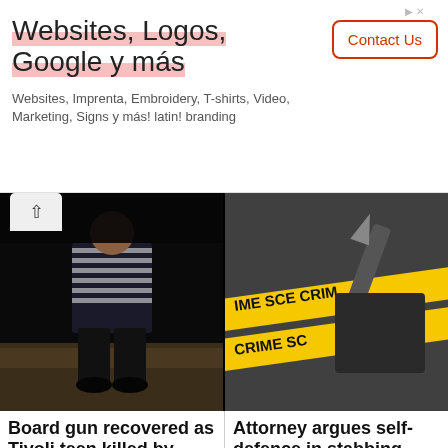[Figure (screenshot): Advertisement banner: 'Websites, Logos, Google y más' with Contact Us button]
Websites, Logos, Google y más
Websites, Imprenta, Embroidery, T-shirts, Video, Marketing, Signs y más! latin! branding
[Figure (photo): Two news article images side by side: left shows a person standing in dark setting (teen killed by cops story), right shows crime scene tape with text 'CRIME SC' (stabbing case story)]
Board gun recovered as Tivoli teen killed by cops
Attorney argues self-defence in stabbing case
We use cookies on this site to enhance your user experience
By clicking the Accept button, you agree to us doing so.
No, give me more info
Accept
No, thanks